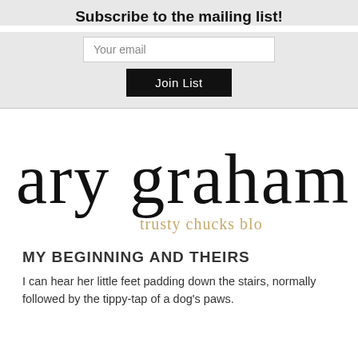Subscribe to the mailing list!
[Figure (screenshot): Email input field with placeholder 'Your email' and a black 'Join List' button below it]
[Figure (logo): Cursive handwritten logo reading 'ary graham' with tagline 'trusty chucks blo' in gold/tan text underneath]
MY BEGINNING AND THEIRS
I can hear her little feet padding down the stairs, normally followed by the tippy-tap of a dog's paws.